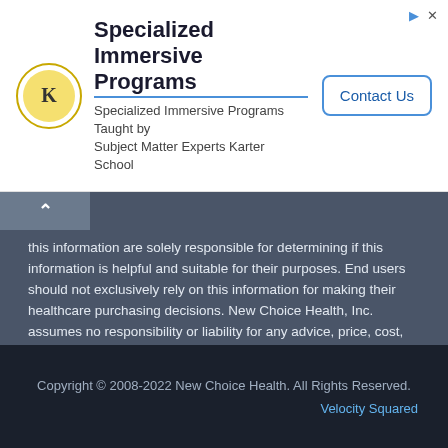[Figure (infographic): Advertisement banner for Karter School featuring logo with K emblem, title 'Specialized Immersive Programs', subtitle text, and Contact Us button]
this information are solely responsible for determining if this information is helpful and suitable for their purposes. End users should not exclusively rely on this information for making their healthcare purchasing decisions. New Choice Health, Inc. assumes no responsibility or liability for any advice, price, cost, treatment, debts, or services performed or obtained by any facility to include but not be limited to hospitals, independent testing facilities, imaging centers, physicians, ambulatory surgery centers, insurance companies, health plans, or healthcare facilities of any kind featured within this report or within the www.newchoicehealth.com website.
By using this site you agree to our Terms of Use and Privacy Policy.
Copyright © 2008-2022 New Choice Health. All Rights Reserved.
Velocity Squared